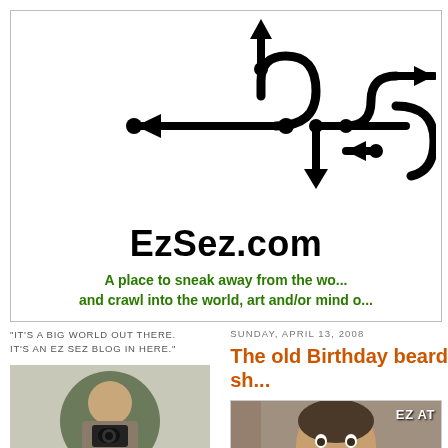[Figure (logo): EzSez.com logo with USB/arrow symbol graphic above the site name]
EzSez.com
A place to sneak away from the wo... and crawl into the world, art and/or mind o...
"IT'S A BIG WORLD OUT THERE. IT'S AN EZ SEZ BLOG IN HERE."
SUNDAY, APRIL 13, 2008
The old Birthday beard sh...
[Figure (photo): Person holding a camera, shown in a circular crop]
[Figure (photo): Person's face with beard, labeled 'EZ AT' in top right corner]